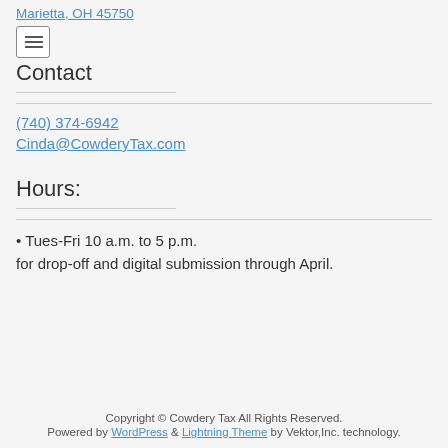Marietta, OH 45750
Contact
(740) 374-6942
Cinda@CowderyTax.com
Hours:
• Tues-Fri 10 a.m. to 5 p.m.
for drop-off and digital submission through April.
Copyright © Cowdery Tax All Rights Reserved.
Powered by WordPress & Lightning Theme by Vektor,Inc. technology.